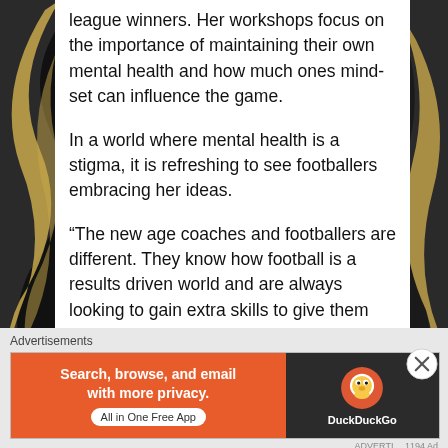league winners.  Her workshops focus on the importance of maintaining their own mental health and how much ones mind-set can influence the game.
In a world where mental health is a stigma, it is refreshing to see footballers embracing her ideas.
“The new age coaches and footballers are different. They know how football is a results driven world and are always looking to gain extra skills to give them that edge. If that means going out of their comfort zone they do.  They want to be the best coach, manager possible and are willing to go to great lengths to do it.
Advertisements
[Figure (screenshot): DuckDuckGo advertisement banner: 'Search, browse, and email with more privacy. All in One Free App' on orange background with DuckDuckGo logo on dark background.]